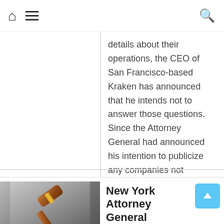Navigation bar with home, menu, and search icons
details about their operations, the CEO of San Francisco-based Kraken has announced that he intends not to answer those questions. Since the Attorney General had announced his intention to publicize any companies not answering his questions, Kraken's [...]
Continue Reading
[Figure (photo): A wooden gavel on a gray gradient background, symbolizing legal authority.]
New York Attorney General Demands